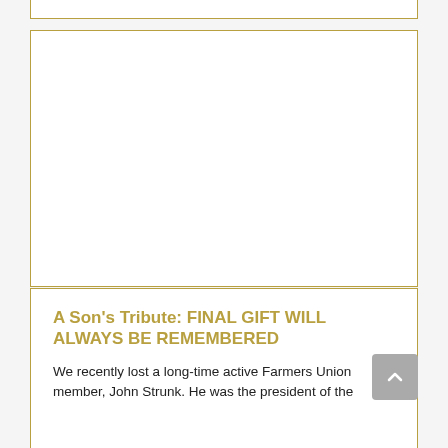[Figure (other): Empty white rectangular box with gold border, representing an image placeholder area]
A Son's Tribute: FINAL GIFT WILL ALWAYS BE REMEMBERED
We recently lost a long-time active Farmers Union member, John Strunk. He was the president of the Garfield County Farmers Union, and was always an...